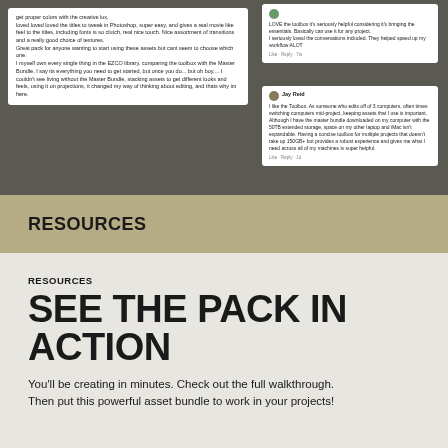get proper colors with the creative lux, loved loved loved the titles to tweak in Photoshop, super easy, and gives a real movie like feel to the titles, including fonts is so clutch, real nice touch. Nice assortment of transitions and a really good choice of textures. Great pack for anyone wanting to start using these assets but cant seem to choose which one. I myself own every single thing in the EZCO library, comparing the toolbox with the Master Bundle, I say its everything you need to get started, but once you do... but oh boy,... I couldn't see living without the Master Bundle, stacking assets to get different looks and feels, using it on projections, it changed my way of thinking about editing, and thats why im here.
LOVE the toolbox it's seriously helpful considering it's bringing the essentials. Basically can use it for any project. I seriously loved the conversations included. They helped speed up my workflow ALOT
Jay Reid
I like the Toolbox. As someone who edits off of 3 computers, often times switching computers mid-project, keeping assets that I use is important. Although I have the master bundle downloaded on my computer with the 50TB extended storage, space on my other laptop and iMac isn't expandable. Having a concise toolbox for multiple projects that doesn't take up 150GB+ but provides a robust experience and gives me what I need across all of my machines is super helpful.
RESOURCES
RESOURCES
SEE THE PACK IN ACTION
You'll be creating in minutes. Check out the full walkthrough. Then put this powerful asset bundle to work in your projects!